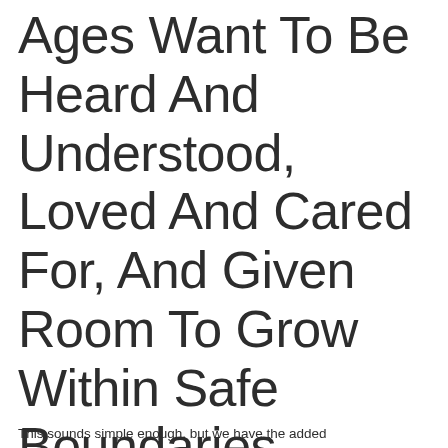Ages Want To Be Heard And Understood, Loved And Cared For, And Given Room To Grow Within Safe Boundaries.
This sounds simple enough, but we have the added